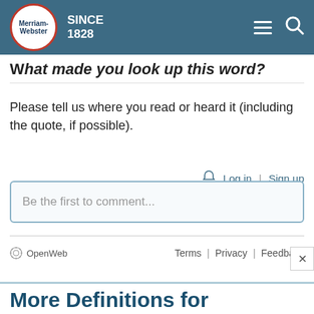[Figure (screenshot): Merriam-Webster navigation bar with logo, SINCE 1828 text, hamburger menu and search icon]
What made you look up this word?
Please tell us where you read or heard it (including the quote, if possible).
Log in | Sign up
Be the first to comment...
OpenWeb   Terms  |  Privacy  |  Feedback
More Definitions for